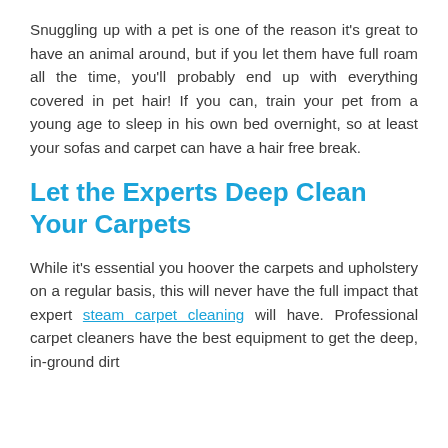Snuggling up with a pet is one of the reason it's great to have an animal around, but if you let them have full roam all the time, you'll probably end up with everything covered in pet hair! If you can, train your pet from a young age to sleep in his own bed overnight, so at least your sofas and carpet can have a hair free break.
Let the Experts Deep Clean Your Carpets
While it's essential you hoover the carpets and upholstery on a regular basis, this will never have the full impact that expert steam carpet cleaning will have. Professional carpet cleaners have the best equipment to get the deep, in-ground dirt